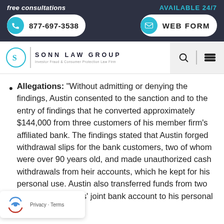free consultations | AVAILABLE 24/7 | 877-697-3538 | WEB FORM
[Figure (logo): Sonn Law Group logo — Investor Fraud & Consumer Protection Law Firm]
Allegations: "Without admitting or denying the findings, Austin consented to the sanction and to the entry of findings that he converted approximately $144,000 from three customers of his member firm's affiliated bank. The findings stated that Austin forged withdrawal slips for the bank customers, two of whom were over 90 years old, and made unauthorized cash withdrawals from their accounts, which he kept for his personal use. Austin also transferred funds from two of these customers' joint bank account to his personal bank